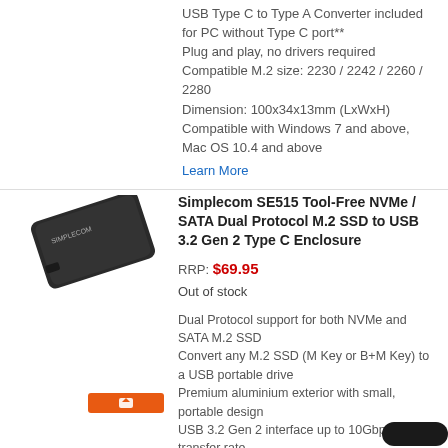USB Type C to Type A Converter included for PC without Type C port**
Plug and play, no drivers required
Compatible M.2 size: 2230 / 2242 / 2260 / 2280
Dimension: 100x34x13mm (LxWxH)
Compatible with Windows 7 and above, Mac OS 10.4 and above
Learn More
[Figure (photo): Black portable SSD enclosure device shown at an angle, with a small orange badge below it]
Simplecom SE515 Tool-Free NVMe / SATA Dual Protocol M.2 SSD to USB 3.2 Gen 2 Type C Enclosure
RRP: $69.95
Out of stock
Dual Protocol support for both NVMe and SATA M.2 SSD
Convert any M.2 SSD (M Key or B+M Key) to a USB portable drive
Premium aluminium exterior with small, portable design
USB 3.2 Gen 2 interface up to 10Gbps* transfer rate